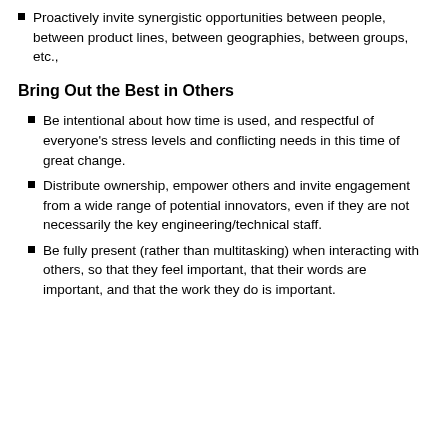Proactively invite synergistic opportunities between people, between product lines, between geographies, between groups, etc.,
Bring Out the Best in Others
Be intentional about how time is used, and respectful of everyone's stress levels and conflicting needs in this time of great change.
Distribute ownership, empower others and invite engagement from a wide range of potential innovators, even if they are not necessarily the key engineering/technical staff.
Be fully present (rather than multitasking) when interacting with others, so that they feel important, that their words are important, and that the work they do is important.